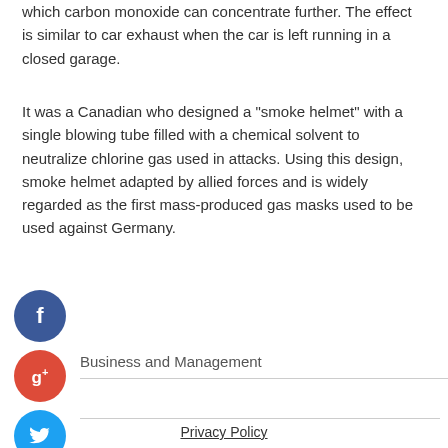which carbon monoxide can concentrate further. The effect is similar to car exhaust when the car is left running in a closed garage.
It was a Canadian who designed a "smoke helmet" with a single blowing tube filled with a chemical solvent to neutralize chlorine gas used in attacks. Using this design, smoke helmet adapted by allied forces and is widely regarded as the first mass-produced gas masks used to be used against Germany.
[Figure (infographic): Social media share buttons: Facebook (blue circle with f), Google+ (red circle with g+), Twitter (blue circle with bird icon), and a dark plus button]
Business and Management
Privacy Policy